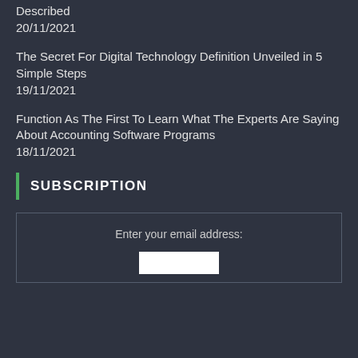Described
20/11/2021
The Secret For Digital Technology Definition Unveiled in 5 Simple Steps
19/11/2021
Function As The First To Learn What The Experts Are Saying About Accounting Software Programs
18/11/2021
SUBSCRIPTION
Enter your email address: